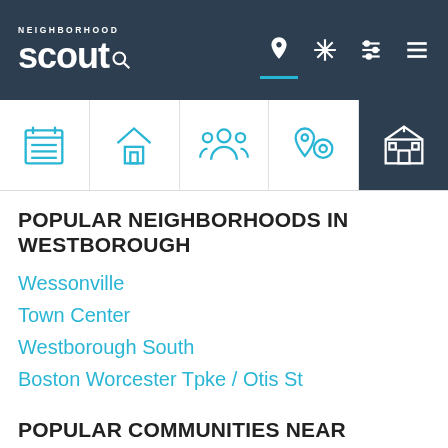Neighborhood Scout - navigation header with logo and icons
POPULAR NEIGHBORHOODS IN WESTBOROUGH
Wessonville
Town Center
Westborough South
Boston Worcester Tpke / Otis St
POPULAR COMMUNITIES NEAR WESTBOROUGH MA
Ashland
Bolton